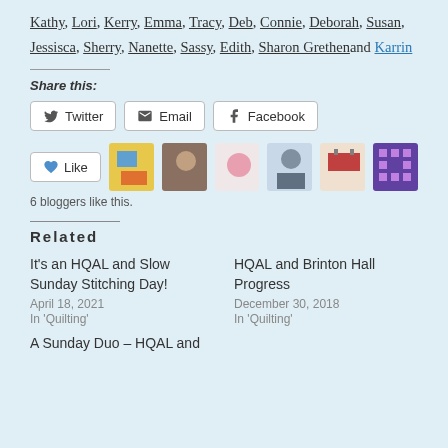Kathy, Lori, Kerry, Emma, Tracy, Deb, Connie, Deborah, Susan, Jessisca, Sherry, Nanette, Sassy, Edith, Sharon Grethenand Karrin
Share this:
Twitter  Email  Facebook
Like  6 bloggers like this.
Related
It's an HQAL and Slow Sunday Stitching Day!
April 18, 2021
In 'Quilting'
HQAL and Brinton Hall Progress
December 30, 2018
In 'Quilting'
A Sunday Duo – HQAL and